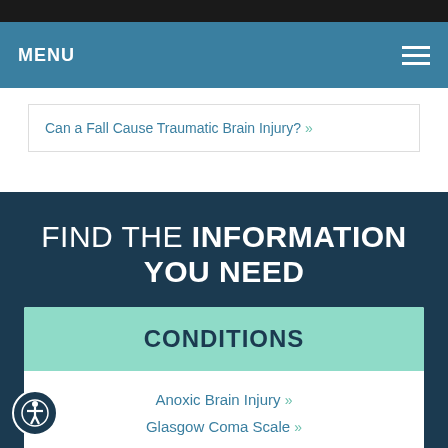MENU
Can a Fall Cause Traumatic Brain Injury? »
FIND THE INFORMATION YOU NEED
CONDITIONS
Anoxic Brain Injury »
Glasgow Coma Scale »